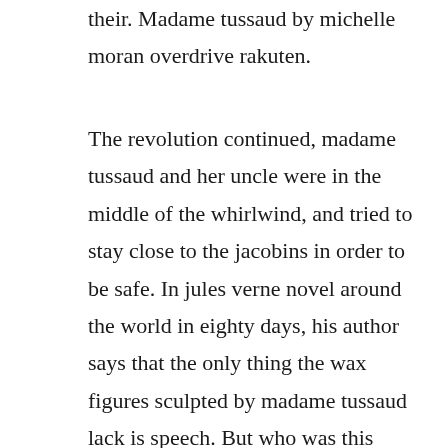their. Madame tussaud by michelle moran overdrive rakuten.
The revolution continued, madame tussaud and her uncle were in the middle of the whirlwind, and tried to stay close to the jacobins in order to be safe. In jules verne novel around the world in eighty days, his author says that the only thing the wax figures sculpted by madame tussaud lack is speech. But who was this woman, and how did she become one of the most famous sculptresses of all time. Ebook madame tussaud as pdf